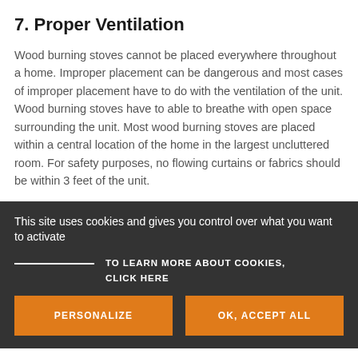7. Proper Ventilation
Wood burning stoves cannot be placed everywhere throughout a home. Improper placement can be dangerous and most cases of improper placement have to do with the ventilation of the unit. Wood burning stoves have to able to breathe with open space surrounding the unit. Most wood burning stoves are placed within a central location of the home in the largest uncluttered room. For safety purposes, no flowing curtains or fabrics should be within 3 feet of the unit.
This site uses cookies and gives you control over what you want to activate
TO LEARN MORE ABOUT COOKIES, CLICK HERE
PERSONALIZE
OK, ACCEPT ALL